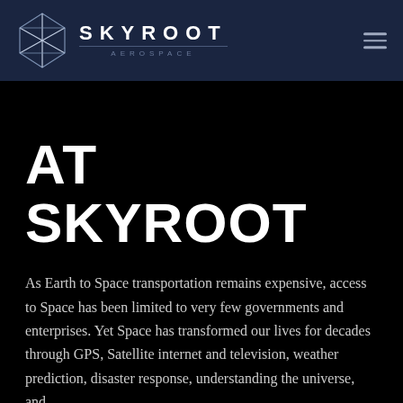[Figure (logo): Skyroot Aerospace logo: geometric diamond/star outline in white on dark navy header, with brand name SKYROOT in large spaced capitals and AEROSPACE in smaller spaced capitals below a thin divider line. Hamburger menu icon on right.]
AT SKYROOT
As Earth to Space transportation remains expensive, access to Space has been limited to very few governments and enterprises. Yet Space has transformed our lives for decades through GPS, Satellite internet and television, weather prediction, disaster response, understanding the universe, and